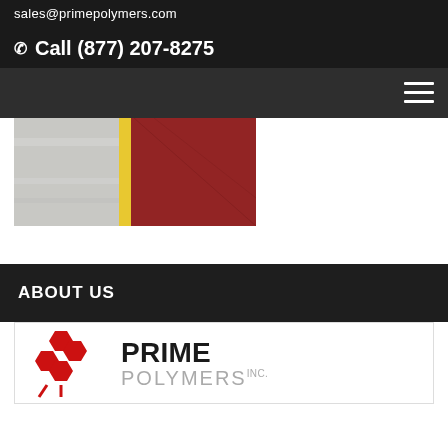sales@primepolymers.com
Call (877) 207-8275
[Figure (screenshot): Navigation bar with hamburger menu icon on dark background]
[Figure (photo): Close-up photo of polymer/plastic material samples showing white, yellow, and red colored sheets]
ABOUT US
[Figure (logo): Prime Polymers Inc. logo with red hexagon shapes and bold text]